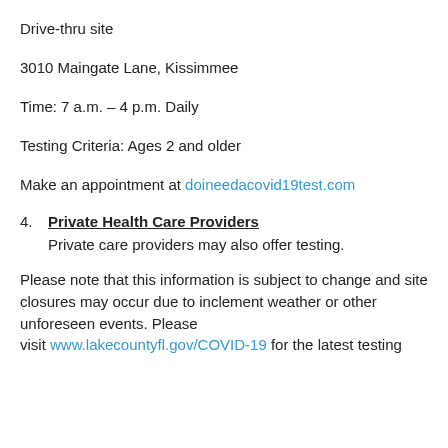Drive-thru site
3010 Maingate Lane, Kissimmee
Time: 7 a.m. – 4 p.m. Daily
Testing Criteria: Ages 2 and older
Make an appointment at doineedacovid19test.com
4. Private Health Care Providers
Private care providers may also offer testing.
Please note that this information is subject to change and site closures may occur due to inclement weather or other unforeseen events. Please visit www.lakecountyfl.gov/COVID-19 for the latest testing